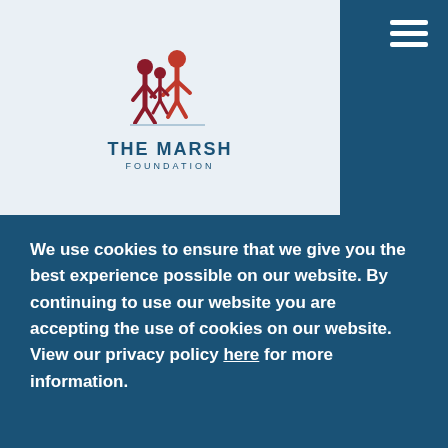[Figure (logo): The Marsh Foundation logo with stylized figures and text THE MARSH FOUNDATION]
foster care did not receive the help they needed, he said. Now, being able to help these young adults during this important transition period will hopefully result in more successful adults later in life.
In his free time, Pressley enjoys collecting vinyl records, going to concerts and bowling in leagues.
We use cookies to ensure that we give you the best experience possible on our website. By continuing to use our website you are accepting the use of cookies on our website. View our privacy policy here for more information.
Ok